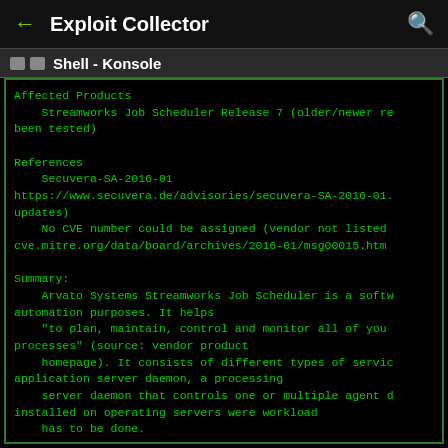← Exploit Collector 🔍
Shell - Konsole
Affected Products
    Streamworks Job Scheduler Release 7 (older/newer re been tested)

References
    Secuvera-SA-2016-01
https://www.secuvera.de/advisories/secuvera-SA-2016-01. updates)
    No CVE number could be assigned (vendor not listed cve.mitre.org/data/board/archives/2016-01/msg00015.htm

Summary:
    Arvato Systems Streamworks Job Scheduler is a softw automation purposes. It helps
    "to plan, maintain, control and monitor all of you processes" (source: vendor product
    homepage). It consists of different types of servic application server daemon, a processing
    server daemon that controls one or multiple agent installed on operating servers were workload
    has to be done.

    During a penetration test at a customers site thre concerning communication